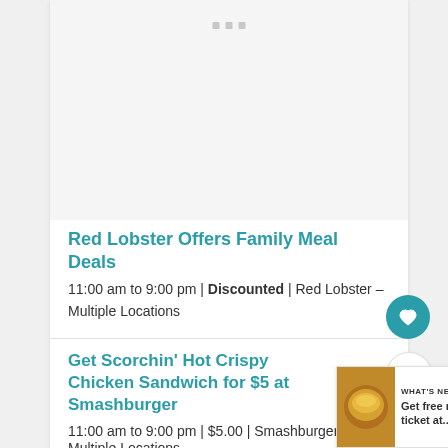[Figure (other): Advertisement placeholder area with gray background and three small square dots at top center]
Red Lobster Offers Family Meal Deals
11:00 am to 9:00 pm | Discounted | Red Lobster – Multiple Locations
Get Scorchin' Hot Crispy Chicken Sandwich for $5 at Smashburger
11:00 am to 9:00 pm | $5.00 | Smashburger – Multiple Locations